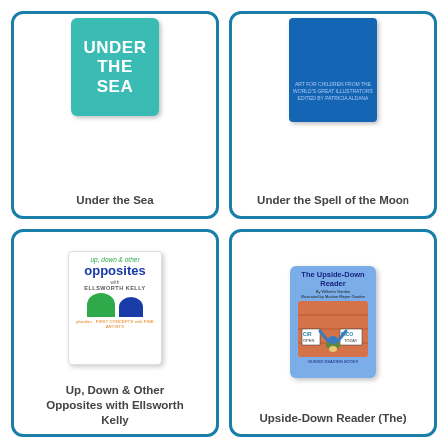[Figure (illustration): Book cover for 'Under the Sea' with teal background and bold white text]
Under the Sea
[Figure (illustration): Book cover for 'Under the Spell of the Moon' with blue background]
Under the Spell of the Moon
[Figure (illustration): Book cover for 'Up, Down & Other Opposites with Ellsworth Kelly' showing green arch and blue arch shapes]
Up, Down & Other Opposites with Ellsworth Kelly
[Figure (illustration): Book cover for 'The Upside-Down Reader' with a child doing a headstand]
Upside-Down Reader (The)